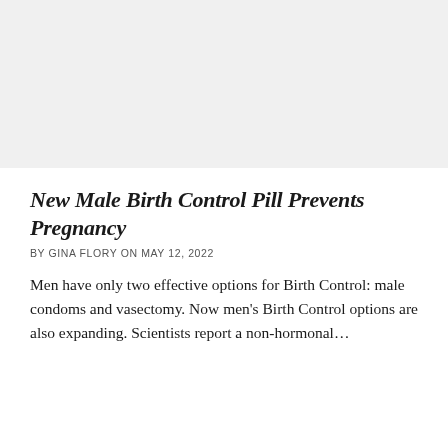[Figure (photo): Light gray rectangular image placeholder at the top of the page]
New Male Birth Control Pill Prevents Pregnancy
BY GINA FLORY ON MAY 12, 2022
Men have only two effective options for Birth Control: male condoms and vasectomy. Now men’s Birth Control options are also expanding. Scientists report a non-hormonal…